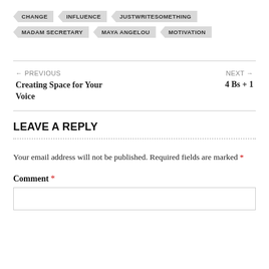CHANGE
INFLUENCE
JUSTWRITESOMETHING
MADAM SECRETARY
MAYA ANGELOU
MOTIVATION
← PREVIOUS
Creating Space for Your Voice
NEXT →
4 Bs + 1
LEAVE A REPLY
Your email address will not be published. Required fields are marked *
Comment *